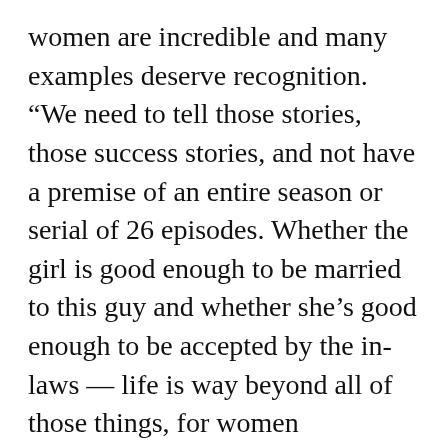women are incredible and many examples deserve recognition. “We need to tell those stories, those success stories, and not have a premise of an entire season or serial of 26 episodes. Whether the girl is good enough to be married to this guy and whether she’s good enough to be accepted by the in-laws — life is way beyond all of those things, for women [especially]. And [they] are breaking boundaries to get out of that stereotype,” she said.
“I did television for 20 years and I did play the mazloom sisakti hui aurat but I felt like enough of that. I did Khasara (2018), that was